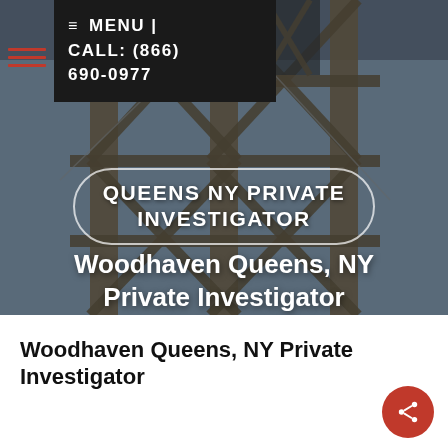[Figure (photo): Steel lattice tower/bridge structure photographed against a grey-blue sky, dark tones, used as hero background image.]
≡ MENU | CALL: (866) 690-0977
QUEENS NY PRIVATE INVESTIGATOR
Woodhaven Queens, NY Private Investigator
Woodhaven Queens, NY Private Investigator